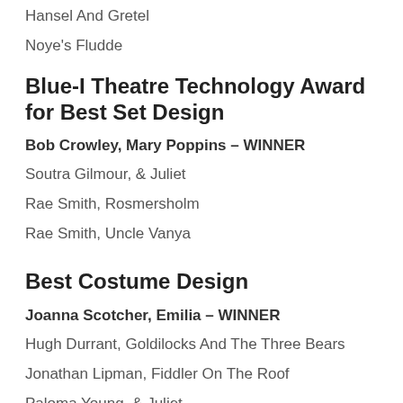Hansel And Gretel
Noye's Fludde
Blue-I Theatre Technology Award for Best Set Design
Bob Crowley, Mary Poppins – WINNER
Soutra Gilmour, & Juliet
Rae Smith, Rosmersholm
Rae Smith, Uncle Vanya
Best Costume Design
Joanna Scotcher, Emilia – WINNER
Hugh Durrant, Goldilocks And The Three Bears
Jonathan Lipman, Fiddler On The Roof
Paloma Young, & Juliet